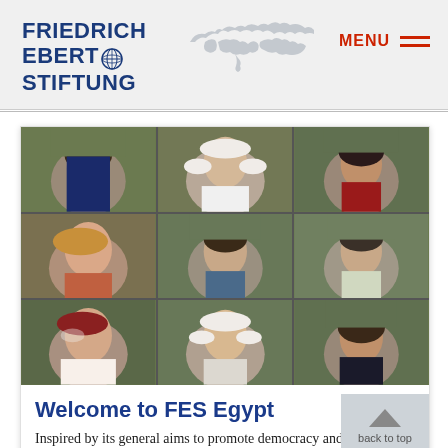Friedrich-Ebert-Stiftung logo with world map and MENU navigation
[Figure (photo): 3x3 grid of portrait photos of FES Egypt team members against green leafy backgrounds]
Welcome to FES Egypt
Inspired by its general aims to promote democracy and